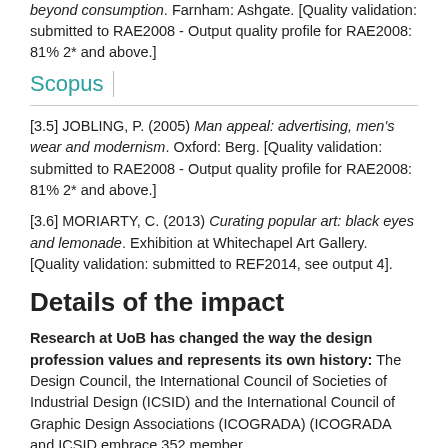[3.4] PARTINGTON, D. (2007) The wedding present: domestic life beyond consumption. Farnham: Ashgate. [Quality validation: submitted to RAE2008 - Output quality profile for RAE2008: 81% 2* and above.]
[Figure (logo): Scopus logo with teal/cyan text and vertical divider line]
[3.5] JOBLING, P. (2005) Man appeal: advertising, men's wear and modernism. Oxford: Berg. [Quality validation: submitted to RAE2008 - Output quality profile for RAE2008: 81% 2* and above.]
[3.6] MORIARTY, C. (2013) Curating popular art: black eyes and lemonade. Exhibition at Whitechapel Art Gallery. [Quality validation: submitted to REF2014, see output 4].
Details of the impact
Research at UoB has changed the way the design profession values and represents its own history: The Design Council, the International Council of Societies of Industrial Design (ICSID) and the International Council of Graphic Design Associations (ICOGRADA) (ICOGRADA and ICSID embrace 352 member